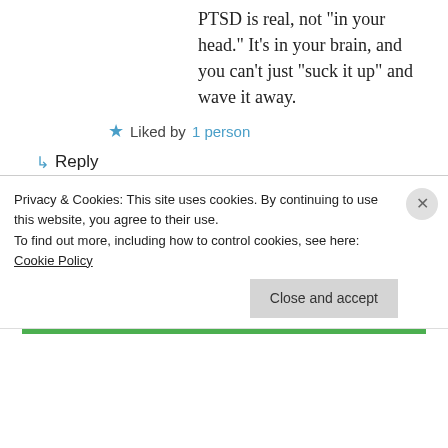PTSD is real, not "in your head." It's in your brain, and you can't just “suck it up” and wave it away.
Liked by 1 person
⤷ Reply
Dave on May 23, 2016 at 7:52 pm
Yep. I don't know that I try to explain PTSD too much. I don't even understand it. But I
Privacy & Cookies: This site uses cookies. By continuing to use this website, you agree to their use.
To find out more, including how to control cookies, see here: Cookie Policy